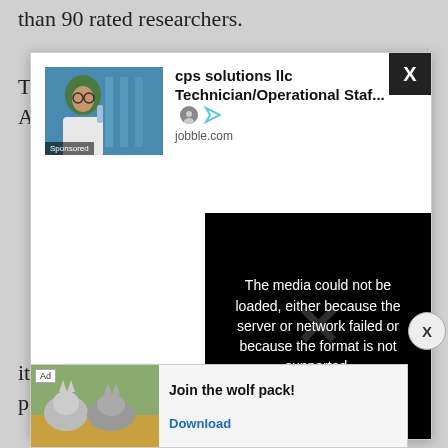than 90 rated researchers.
The University fosters ideas that are rooted in African
[Figure (screenshot): Advertisement modal overlay showing a job posting for 'cps solutions llc Technician/Operational Staf...' from jobble.com with a sponsored image of a woman in a lab coat and hijab on a blue background. Includes a close (X) button in the top-right corner.]
[Figure (screenshot): Video player error overlay in black showing the message: 'The media could not be loaded, either because the server or network failed or because the format is not supported.' with a large X icon.]
[Figure (screenshot): Bottom banner ad with 'Ad' label, image of wolves, and text 'Join the wolf pack!' with a 'Download' button.]
it has ... postg... t are